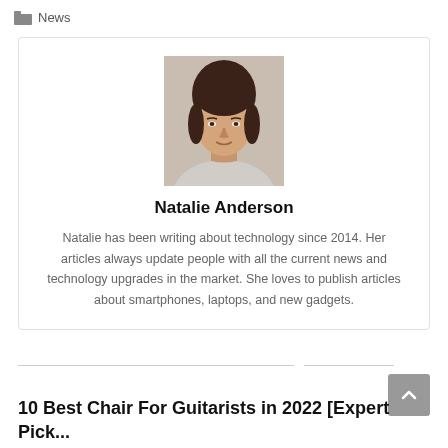News
[Figure (photo): Headshot photo of Natalie Anderson, a woman with dark hair pulled back, wearing neutral clothing, against a light background]
Natalie Anderson
Natalie has been writing about technology since 2014. Her articles always update people with all the current news and technology upgrades in the market. She loves to publish articles about smartphones, laptops, and new gadgets.
10 Best Chair For Guitarists in 2022 [Expert Pick...